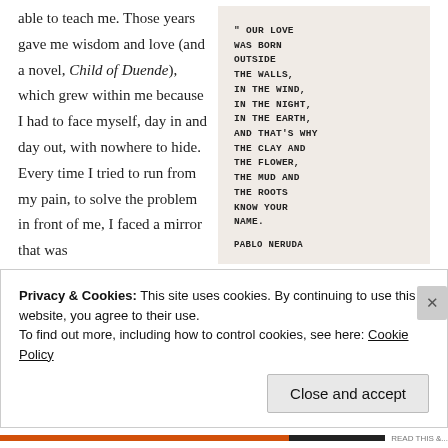When I look back at these years, I am humbled at what life's pain was able to teach me. Those years gave me wisdom and love (and a novel, Child of Duende), which grew within me because I had to face myself, day in and day out, with nowhere to hide. Every time I tried to run from my pain, to solve the problem in front of me, I faced a mirror that was
[Figure (illustration): Handwritten poem on a light beige/pink background. Text reads: 'OUR LOVE WAS BORN OUTSIDE THE WALLS, IN THE WIND, IN THE NIGHT, IN THE EARTH, AND THAT'S WHY THE CLAY AND THE FLOWER, THE MUD AND THE ROOTS KNOW YOUR NAME.' Attribution: PABLO NERUDA]
Privacy & Cookies: This site uses cookies. By continuing to use this website, you agree to their use.
To find out more, including how to control cookies, see here: Cookie Policy